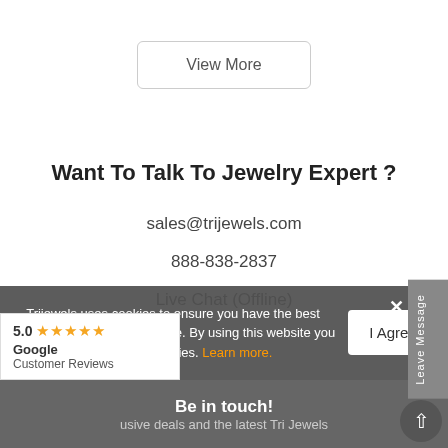View More
Want To Talk To Jewelry Expert ?
sales@trijewels.com
888-838-2837
Live Chat (Offline)
Trijewels uses cookies to ensure you have the best possible shopping experience. By using this website you agree to use our cookies. Learn more.
I Agree
5.0 ★★★★★ Google Customer Reviews
Be in touch!
usive deals and the latest Tri Jewels